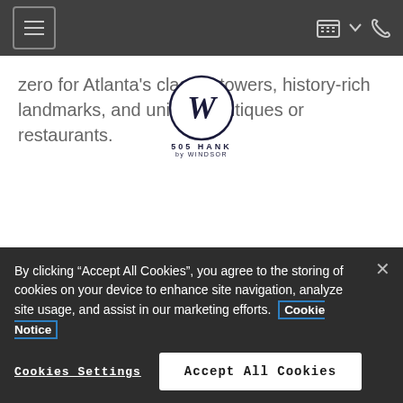Navigation bar with hamburger menu, calendar icon, dropdown arrow, and phone icon
zero for Atlanta's class-A towers, history-rich landmarks, and unique boutiques or restaurants.
[Figure (logo): 505 Hank by Windsor logo - circular W emblem with text]
Nearby Communities
BIRD'S EYE VIEW
By clicking “Accept All Cookies”, you agree to the storing of cookies on your device to enhance site navigation, analyze site usage, and assist in our marketing efforts. Cookie Notice
Cookies Settings
Accept All Cookies